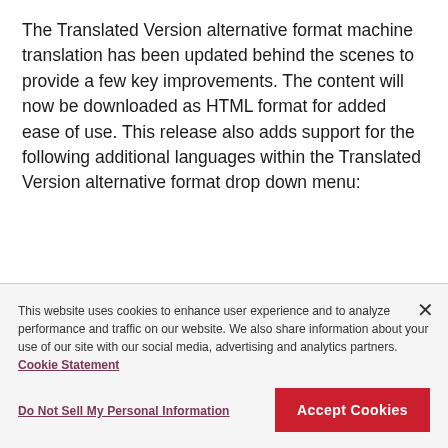The Translated Version alternative format machine translation has been updated behind the scenes to provide a few key improvements. The content will now be downloaded as HTML format for added ease of use.  This release also adds support for the following additional languages within the Translated Version alternative format drop down menu:
This website uses cookies to enhance user experience and to analyze performance and traffic on our website. We also share information about your use of our site with our social media, advertising and analytics partners. Cookie Statement
Do Not Sell My Personal Information
Accept Cookies